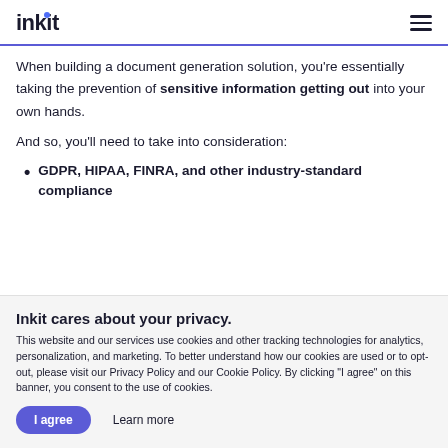inkit
When building a document generation solution, you're essentially taking the prevention of sensitive information getting out into your own hands.
And so, you'll need to take into consideration:
GDPR, HIPAA, FINRA, and other industry-standard compliance
Inkit cares about your privacy.
This website and our services use cookies and other tracking technologies for analytics, personalization, and marketing. To better understand how our cookies are used or to opt-out, please visit our Privacy Policy and our Cookie Policy. By clicking "I agree" on this banner, you consent to the use of cookies.